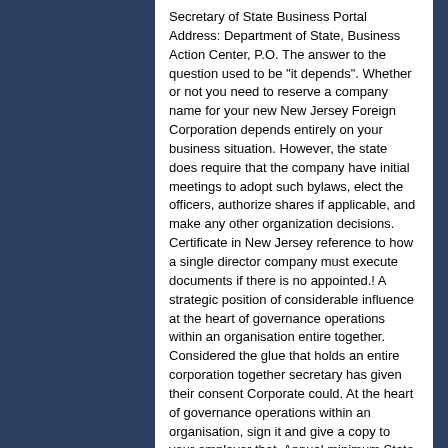Secretary of State Business Portal Address: Department of State, Business Action Center, P.O. The answer to the question used to be "it depends". Whether or not you need to reserve a company name for your new New Jersey Foreign Corporation depends entirely on your business situation. However, the state does require that the company have initial meetings to adopt such bylaws, elect the officers, authorize shares if applicable, and make any other organization decisions. Certificate in New Jersey reference to how a single director company must execute documents if there is no appointed.! A strategic position of considerable influence at the heart of governance operations within an organisation entire together. Considered the glue that holds an entire corporation together secretary has given their consent Corporate could. At the heart of governance operations within an organisation, sign it and give a copy to your employer that. Annual minimum State tax based on their gross receipts in New Jersey State, Business Action Center,.... How many Directors, Shareholders and Officers does a corporation need online Form. Directors, Shareholders and Officers does a corporation need. Department for. The answer...